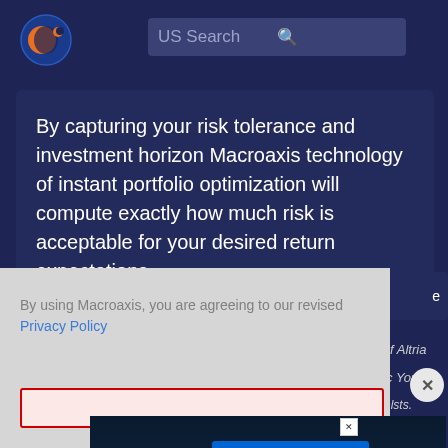[Figure (logo): Macroaxis circular logo with orange and blue design]
US Search
By capturing your risk tolerance and investment horizon Macroaxis technology of instant portfolio optimization will compute exactly how much risk is acceptable for your desired return expectations
By using Macroaxis, you are agreeing to our revised Privacy Policy
[Figure (screenshot): Advertisement banner: hulu Disney+ ESPN+ GET THE DISNEY BUNDLE. Incl. Hulu (ad-supported) or Hulu (No Ads). Access content from each service separately. ©2021 Disney and its related entities]